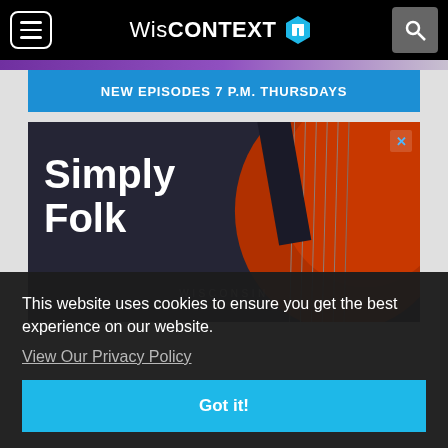WisCONTEXT
NEW EPISODES 7 P.M. THURSDAYS
[Figure (screenshot): Simply Folk advertisement with guitar image and Wisconsin Public Radio logo]
This website uses cookies to ensure you get the best experience on our website.
View Our Privacy Policy
Got it!